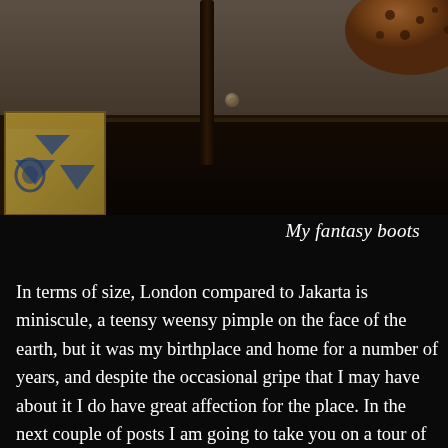[Figure (photo): A dark photograph showing a wooden table or desk surface with a decorative tile or card on the left with blue and gold patterns, a dark vertical post/lamp stand in the center, a small metallic screw or bolt, and a spotted brown bowl in the upper right corner. The background shows a gray-brown wall.]
My fantasy boots
In terms of size, London compared to Jakarta is miniscule, a teensy weensy pimple on the face of the earth, but it was my birthplace and home for a number of years, and despite the occasional gripe that I may have about it I do have great affection for the place. In the next couple of posts I am going to take you on a tour of places that I particularly love and that I think are well worth visiting should you find